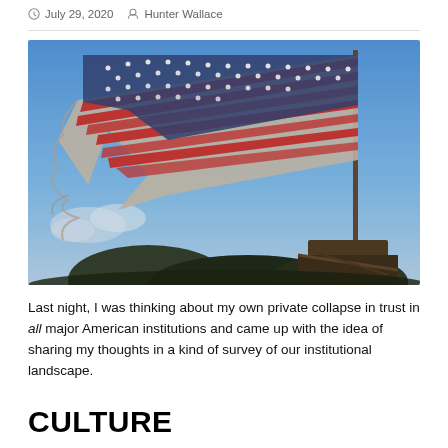July 29, 2020  Hunter Wallace
[Figure (photo): A tattered and weathered American flag waving in a blue sky, mounted on a wooden post amid debris and trees.]
Last night, I was thinking about my own private collapse in trust in all major American institutions and came up with the idea of sharing my thoughts in a kind of survey of our institutional landscape.
CULTURE